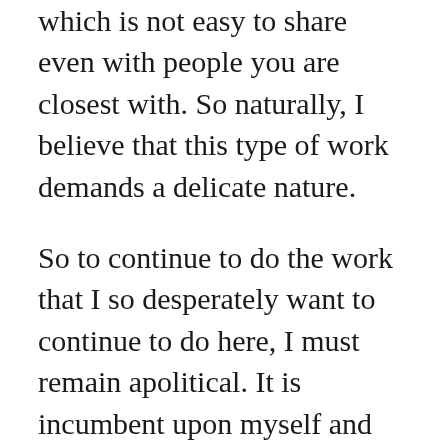which is not easy to share even with people you are closest with. So naturally, I believe that this type of work demands a delicate nature.
So to continue to do the work that I so desperately want to continue to do here, I must remain apolitical. It is incumbent upon myself and other volunteers to sidestep political conversations and to continue to